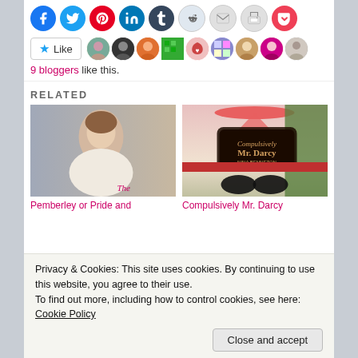[Figure (screenshot): Row of social media sharing icon circles: Facebook (blue), Twitter (blue), Pinterest (red), LinkedIn (blue), Tumblr (dark), Reddit (light), Email (grey), Print (grey), Pocket (red)]
[Figure (screenshot): Like button with star icon and 9 blogger avatar thumbnails]
9 bloggers like this.
RELATED
[Figure (photo): Book cover: Pemberley or Pride and Prejudice - portrait of a Regency woman in white]
[Figure (photo): Book cover: Compulsively Mr. Darcy by Nina Benneton - shoes and pink/green cover]
Pemberley or Pride and Prejudice...
Compulsively Mr. Darcy...
Privacy & Cookies: This site uses cookies. By continuing to use this website, you agree to their use.
To find out more, including how to control cookies, see here: Cookie Policy
Close and accept